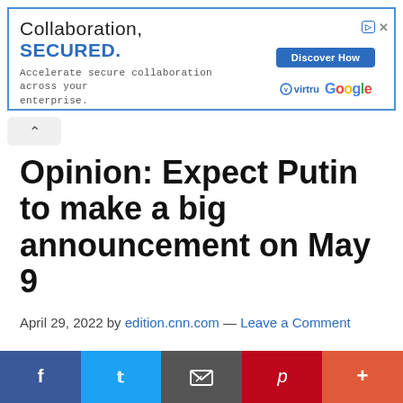[Figure (other): Advertisement banner: 'Collaboration, SECURED. Accelerate secure collaboration across your enterprise.' with Discover How button, virtru and Google logos]
Opinion: Expect Putin to make a big announcement on May 9
April 29, 2022 by edition.cnn.com — Leave a Comment
James Nixey is the director of the Russia-Eurasia Programme at Chatham House, specializing in the relationships between Russia and the other post-Soviet states. He previously worked as an investigative reporter at the Moscow Tribune. The views expressed in this commentary are his own.